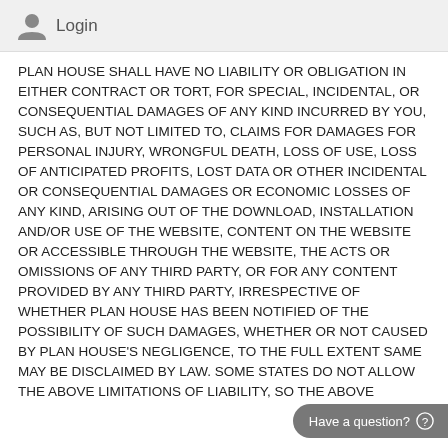Login
PLAN HOUSE SHALL HAVE NO LIABILITY OR OBLIGATION IN EITHER CONTRACT OR TORT, FOR SPECIAL, INCIDENTAL, OR CONSEQUENTIAL DAMAGES OF ANY KIND INCURRED BY YOU, SUCH AS, BUT NOT LIMITED TO, CLAIMS FOR DAMAGES FOR PERSONAL INJURY, WRONGFUL DEATH, LOSS OF USE, LOSS OF ANTICIPATED PROFITS, LOST DATA OR OTHER INCIDENTAL OR CONSEQUENTIAL DAMAGES OR ECONOMIC LOSSES OF ANY KIND, ARISING OUT OF THE DOWNLOAD, INSTALLATION AND/OR USE OF THE WEBSITE, CONTENT ON THE WEBSITE OR ACCESSIBLE THROUGH THE WEBSITE, THE ACTS OR OMISSIONS OF ANY THIRD PARTY, OR FOR ANY CONTENT PROVIDED BY ANY THIRD PARTY, IRRESPECTIVE OF WHETHER PLAN HOUSE HAS BEEN NOTIFIED OF THE POSSIBILITY OF SUCH DAMAGES, WHETHER OR NOT CAUSED BY PLAN HOUSE'S NEGLIGENCE, TO THE FULL EXTENT SAME MAY BE DISCLAIMED BY LAW. SOME STATES DO NOT ALLOW THE ABOVE LIMITATIONS OF LIABILITY, SO THE ABOVE